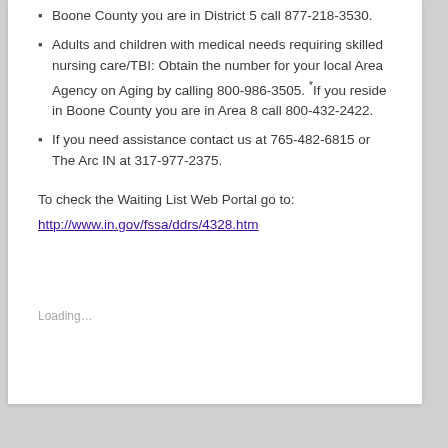Boone County you are in District 5 call 877-218-3530.
Adults and children with medical needs requiring skilled nursing care/TBI: Obtain the number for your local Area Agency on Aging by calling 800-986-3505. *If you reside in Boone County you are in Area 8 call 800-432-2422.
If you need assistance contact us at 765-482-6815 or The Arc IN at 317-977-2375.
To check the Waiting List Web Portal go to:
http://www.in.gov/fssa/ddrs/4328.htm
Loading…